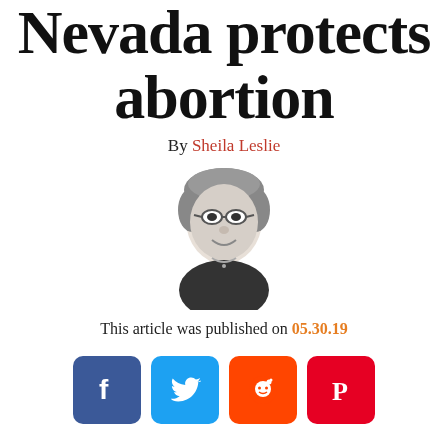Nevada protects abortion
By Sheila Leslie
[Figure (illustration): Black and white portrait illustration of Sheila Leslie, a woman with short curly hair and glasses, smiling, wearing a dark top with a necklace.]
This article was published on 05.30.19
[Figure (infographic): Four social media sharing icons: Facebook (blue), Twitter (light blue), Reddit (orange), Pinterest (red)]